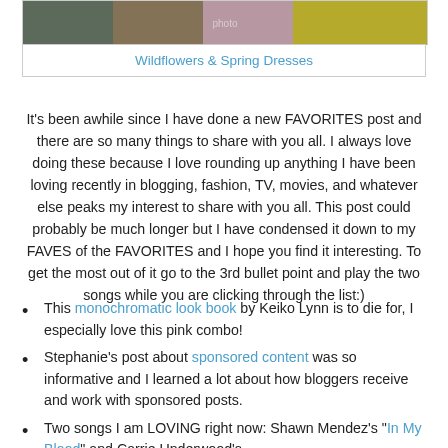[Figure (photo): Photo of a person in a floral dress outdoors with yellow flowers in background]
Wildflowers & Spring Dresses
It's been awhile since I have done a new FAVORITES post and there are so many things to share with you all. I always love doing these because I love rounding up anything I have been loving recently in blogging, fashion, TV, movies, and whatever else peaks my interest to share with you all. This post could probably be much longer but I have condensed it down to my FAVES of the FAVORITES and I hope you find it interesting. To get the most out of it go to the 3rd bullet point and play the two songs while you are clicking through the list:)
This monochromatic look book by Keiko Lynn is to die for, I especially love this pink combo!
Stephanie's post about sponsored content was so informative and I learned a lot about how bloggers receive and work with sponsored posts.
Two songs I am LOVING right now: Shawn Mendez's "In My Blood" and Carrie Underwood's